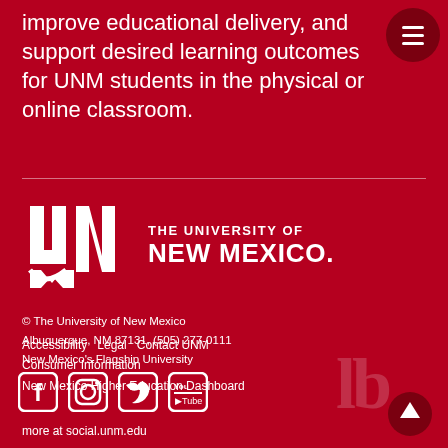improve educational delivery, and support desired learning outcomes for UNM students in the physical or online classroom.
[Figure (logo): The University of New Mexico official logo — interlocking UNM letters with 'THE UNIVERSITY OF NEW MEXICO.' wordmark in white on dark red background]
© The University of New Mexico
Albuquerque, NM 87131, (505) 277-0111
New Mexico's Flagship University
[Figure (other): Social media icons: Facebook, Instagram, Twitter, YouTube]
more at social.unm.edu
Accessibility   Legal   Contact UNM
Consumer Information
New Mexico Higher Education Dashboard